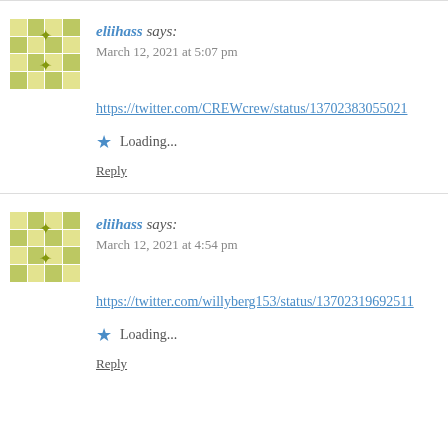eliihass says: March 12, 2021 at 5:07 pm
https://twitter.com/CREWcrew/status/13702383055021
Loading...
Reply
eliihass says: March 12, 2021 at 4:54 pm
https://twitter.com/willyberg153/status/13702319692511
Loading...
Reply